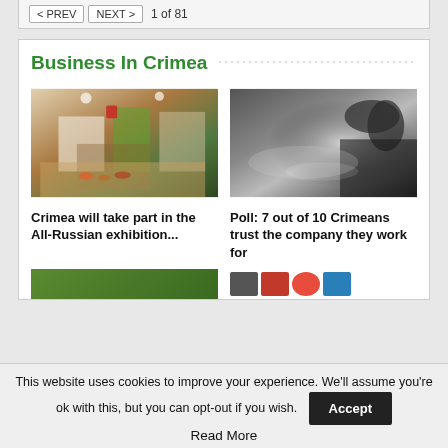< PREV   NEXT >   1 of 81
Business In Crimea
[Figure (photo): Exhibition hall with display booths and products]
[Figure (photo): Close-up of a hand pressing keys on a dark surface]
Crimea will take part in the All-Russian exhibition...
Poll: 7 out of 10 Crimeans trust the company they work for
[Figure (photo): Partially visible thumbnail images at bottom]
This website uses cookies to improve your experience. We'll assume you're ok with this, but you can opt-out if you wish.
Accept
Read More